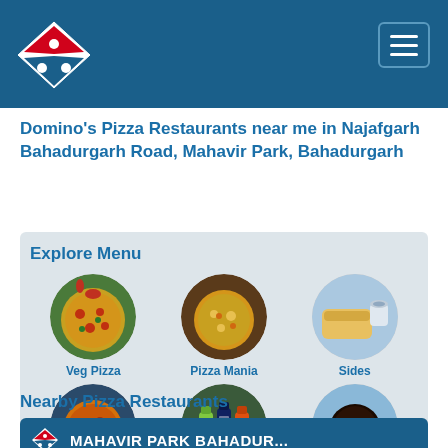Domino's Pizza – Navigation header with logo and hamburger menu
Domino's Pizza Restaurants near me in Najafgarh Bahadurgarh Road, Mahavir Park, Bahadurgarh
Explore Menu
[Figure (illustration): Circular food image: Veg Pizza]
Veg Pizza
[Figure (illustration): Circular food image: Pizza Mania]
Pizza Mania
[Figure (illustration): Circular food image: Sides]
Sides
[Figure (illustration): Circular food image: Non-Veg Pizza]
Non-Veg Pizza
[Figure (illustration): Circular food image: Beverages]
Beverages
[Figure (illustration): Circular food image: Desserts]
Desserts
Nearby Pizza Restaurants
MAHAVIR PARK BAHADUR...